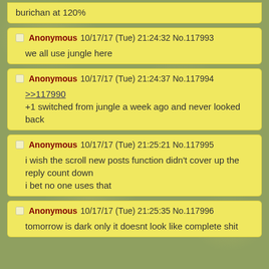burichan at 120%
Anonymous 10/17/17 (Tue) 21:24:32 No.117993
we all use jungle here
Anonymous 10/17/17 (Tue) 21:24:37 No.117994
>>117990
+1 switched from jungle a week ago and never looked back
Anonymous 10/17/17 (Tue) 21:25:21 No.117995
i wish the scroll new posts function didn't cover up the reply count down
i bet no one uses that
Anonymous 10/17/17 (Tue) 21:25:35 No.117996
tomorrow is dark only it doesnt look like complete shit